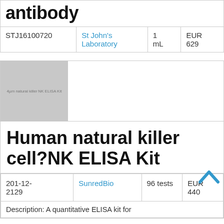antibody
| ID | Supplier | Quantity | Price |
| --- | --- | --- | --- |
| STJ16100720 | St John's Laboratory | 1 mL | EUR 629 |
[Figure (photo): Product image placeholder for Human natural killer cell NK ELISA Kit, grey box with small text]
Human natural killer cell?NK ELISA Kit
| ID | Supplier | Quantity | Price |
| --- | --- | --- | --- |
| 201-12-2129 | SunredBio | 96 tests | EUR 440 |
Description: A quantitative ELISA kit for